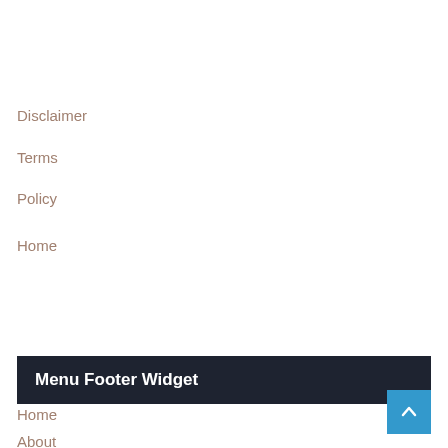Disclaimer
Terms
Policy
Home
Menu Footer Widget
Home
About